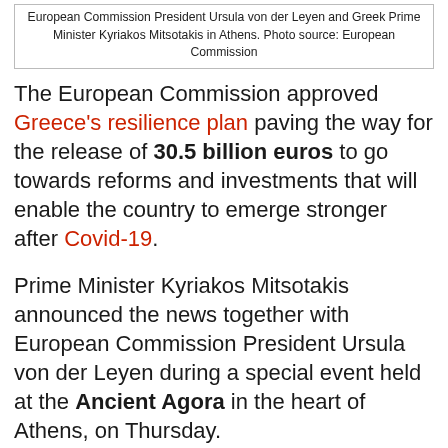European Commission President Ursula von der Leyen and Greek Prime Minister Kyriakos Mitsotakis in Athens. Photo source: European Commission
The European Commission approved Greece's resilience plan paving the way for the release of 30.5 billion euros to go towards reforms and investments that will enable the country to emerge stronger after Covid-19.
Prime Minister Kyriakos Mitsotakis announced the news together with European Commission President Ursula von der Leyen during a special event held at the Ancient Agora in the heart of Athens, on Thursday.
“The Commission has given the green light to Greece’s national recovery plan; a plan that belongs to the Greek people and will transform the Greek